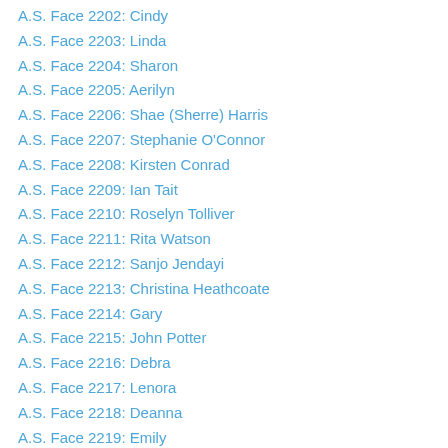A.S. Face 2202: Cindy
A.S. Face 2203: Linda
A.S. Face 2204: Sharon
A.S. Face 2205: Aerilyn
A.S. Face 2206: Shae (Sherre) Harris
A.S. Face 2207: Stephanie O'Connor
A.S. Face 2208: Kirsten Conrad
A.S. Face 2209: Ian Tait
A.S. Face 2210: Roselyn Tolliver
A.S. Face 2211: Rita Watson
A.S. Face 2212: Sanjo Jendayi
A.S. Face 2213: Christina Heathcoate
A.S. Face 2214: Gary
A.S. Face 2215: John Potter
A.S. Face 2216: Debra
A.S. Face 2217: Lenora
A.S. Face 2218: Deanna
A.S. Face 2219: Emily
A.S. Face 2220: Janine
A.S. Face 2221: Pamela